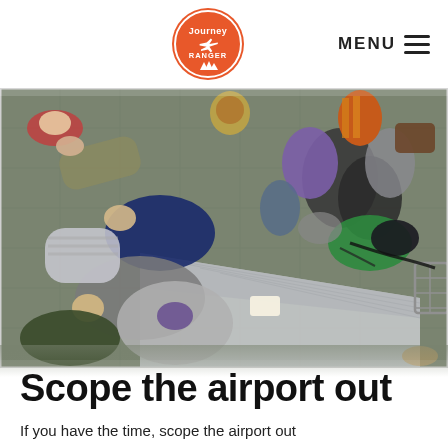Journey Ranger — MENU
[Figure (photo): Overhead/top-down view of people lying on the floor among large backpacks, bags, helmets and travel gear at what appears to be an airport, seen from above. People are dressed casually and surrounded by colorful luggage.]
Scope the airport out
If you have the time, scope the airport out